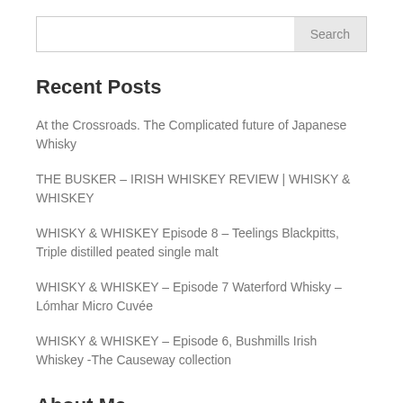Search
Recent Posts
At the Crossroads. The Complicated future of Japanese Whisky
THE BUSKER – IRISH WHISKEY REVIEW | WHISKY & WHISKEY
WHISKY & WHISKEY Episode 8 – Teelings Blackpitts, Triple distilled peated single malt
WHISKY & WHISKEY – Episode 7 Waterford Whisky – Lómhar Micro Cuvée
WHISKY & WHISKEY – Episode 6, Bushmills Irish Whiskey -The Causeway collection
About Me